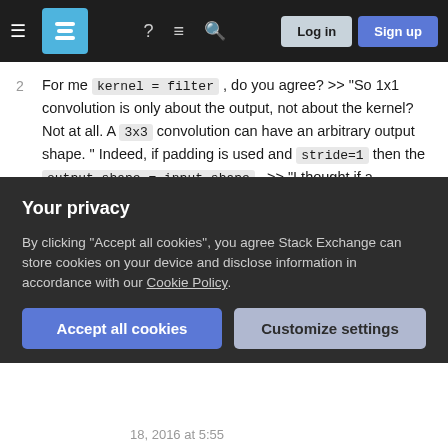Stack Exchange navigation bar with hamburger menu, logo, help, chat, search icons, Log in and Sign up buttons
2  For me kernel = filter , do you agree? >> "So 1x1 convolution is only about the output, not about the kernel? Not at all. A 3x3 convolution can have an arbitrary output shape. " Indeed, if padding is used and stride=1 then the output shape = input shape . >> "I thought if a convolution kernel has shape [1, 1, 3], then one would say it is a 1x1x3 convolution?" No, I have never heared someone talking about 3x3x512 convolutions. However all convolution-filters I have seen have a third spatial dimension equal to the number of feature-maps of the input layer. – MarvMind Jul 18, 2016 at 5:51 ✏
For reference, have a look at the Convolution
Your privacy
By clicking "Accept all cookies", you agree Stack Exchange can store cookies on your device and disclose information in accordance with our Cookie Policy.
Accept all cookies   Customize settings
18, 2016 at 5:55